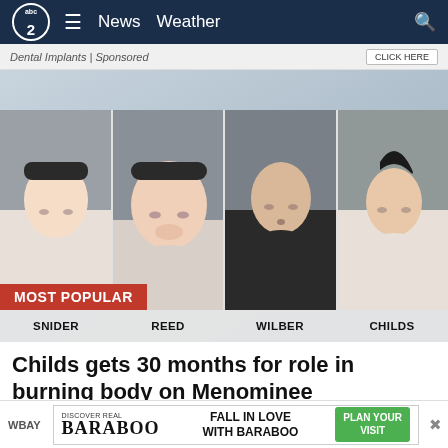abc2 News Weather
Dental Implants | Sponsored
[Figure (photo): Four mugshot photos labeled SNIDER, REED, WILBER, CHILDS with a MOST POPULAR red banner overlay]
Childs gets 30 months for role in burning body on Menominee reservation
WBAY
DISCOVER REAL BARABOO  FALL IN LOVE WITH BARABOO  PLAN YOUR VISIT